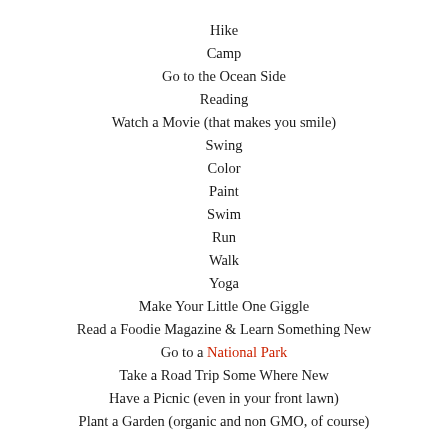Hike
Camp
Go to the Ocean Side
Reading
Watch a Movie (that makes you smile)
Swing
Color
Paint
Swim
Run
Walk
Yoga
Make Your Little One Giggle
Read a Foodie Magazine & Learn Something New
Go to a National Park
Take a Road Trip Some Where New
Have a Picnic (even in your front lawn)
Plant a Garden (organic and non GMO, of course)